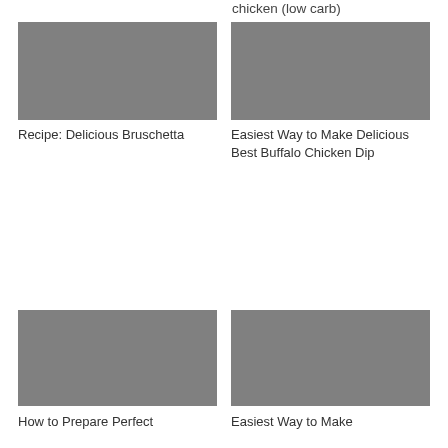chicken (low carb)
[Figure (photo): Gray placeholder image for Bruschetta recipe]
[Figure (photo): Gray placeholder image for Buffalo Chicken Dip recipe]
Recipe: Delicious Bruschetta
Easiest Way to Make Delicious Best Buffalo Chicken Dip
[Figure (photo): Gray placeholder image for Perfect chicken recipe]
[Figure (photo): Gray placeholder image for Easiest Way to Make recipe]
How to Prepare Perfect
Easiest Way to Make